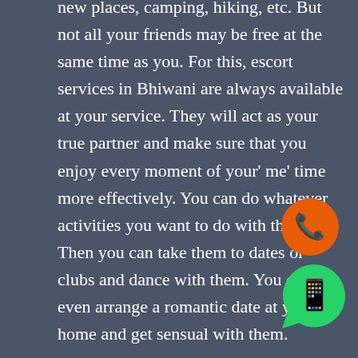new places, camping, hiking, etc. But not all your friends may be free at the same time as you. For this, escort services in Bhiwani are always available at your service. They will act as your true partner and make sure that you enjoy every moment of your' me' time more effectively. You can do whatever activities you want to do with them. Then you can take them to dates or clubs and dance with them. You can even arrange a romantic date at your home and get sensual with them.
There are some things that you always wanted to do but avoid because you fear what people might think. Now with Bhiwani Escort, you have a golden chance to give these things are trying. They will not judge you but help you to fulfill your dreams in an entertaining way. Also if you